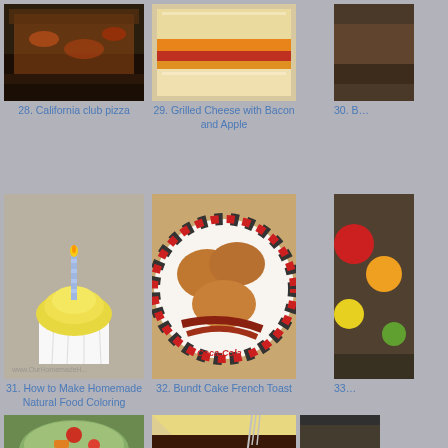[Figure (photo): California club pizza - dark baked pizza on tray]
28. California club pizza
[Figure (photo): Grilled Cheese with Bacon and Apple sandwich closeup]
29. Grilled Cheese with Bacon and Apple
[Figure (photo): Partially visible item 30]
30. B…
[Figure (photo): Cupcake with blue birthday candle and yellow frosting - How to Make Homemade Natural Food Coloring]
31. How to Make Homemade Natural Food Coloring
[Figure (photo): Bundt Cake French Toast on Coca-Cola checkered plate with bacon]
32. Bundt Cake French Toast
[Figure (photo): Partially visible item 33]
33…
[Figure (photo): Colorful vegetable salad in glass bowl with broccoli]
[Figure (photo): Meat dish with melted cheese on top, fork visible]
[Figure (photo): Partially visible item on right edge]